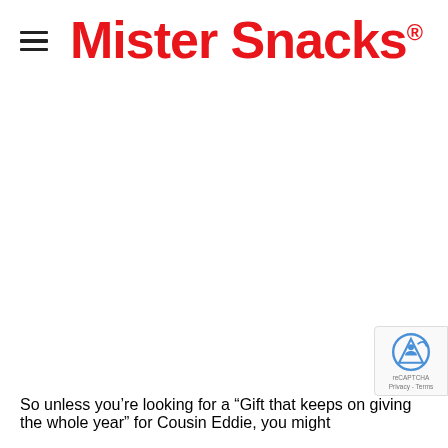≡  Mister Snacks®
So unless you’re looking for a “Gift that keeps on giving the whole year” for Cousin Eddie, you might